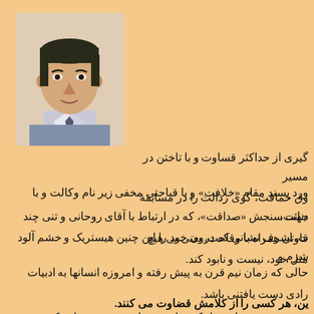[Figure (photo): Portrait photo of a middle-aged man in a suit jacket, with dark hair]
گیری از حداکثر قساوت و با تاختن در مسیر
وق حماقت، گوی رذالت را در مسابقۀ دنائت،
قاوتی همراه با وقاحت، یعنی بی هیچ شرم و
ورد پسند مقام «خلافت» و با قباحتی مخفی زیر نام وکالت و با
جهت سنجش «صداقت»، که در ارتباط با آقای روحانی و تنی چند
ت. اشرف نشانی که درون خود را این چنین هیستریک و خشم آلود
مثل خود، نیست و نابود کند.
حالی که زمان نیم قرن به پیش رفته و امروزه انسانها به ادبیات
رادی دست یافتنی باشد.
ین، هر کسی را از کلامش قضاوت می کنند.
نویسنده می پردازیم با ذکر تمام و میزان بیشتری خواهد کرد